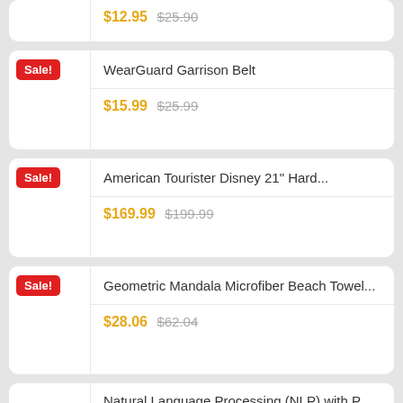Product: (partial) Sale! — $12.95 $25.90
Sale! WearGuard Garrison Belt — $15.99 $25.99
Sale! American Tourister Disney 21" Hard... — $169.99 $199.99
Sale! Geometric Mandala Microfiber Beach Towel... — $28.06 $62.04
Natural Language Processing (NLP) with P... — (price partially visible)